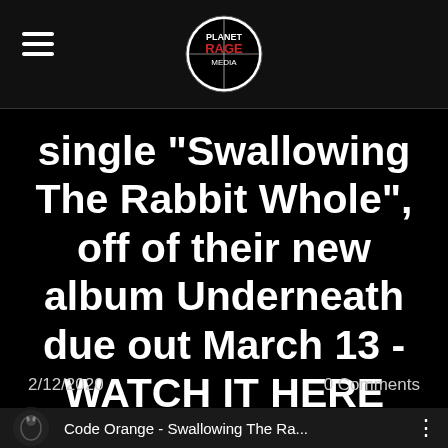Planet Rage Media — navigation header with logo
single "Swallowing The Rabbit Whole", off of their new album Underneath due out March 13 - WATCH IT HERE
2/12/2020    0 Comments
[Figure (screenshot): YouTube/embedded video thumbnail row: Code Orange - Swallowing The Ra... with channel icon and three-dot menu]